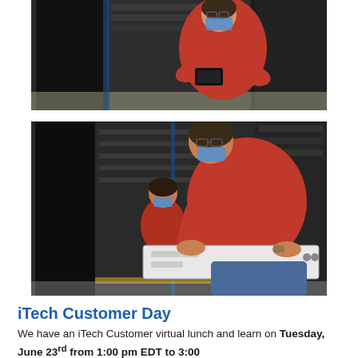[Figure (photo): A person wearing a red long-sleeve shirt and a blue face mask working with server equipment in a data center. They are handling a black piece of hardware between server racks.]
[Figure (photo): Two people wearing red shirts and face masks working in a data center. One person in the foreground is leaning over a white server chassis on a rack, while another person in the background is crouching near server equipment.]
iTech Customer Day
We have an iTech Customer virtual lunch and learn on Tuesday, June 23rd from 1:00 pm EDT to 3:00